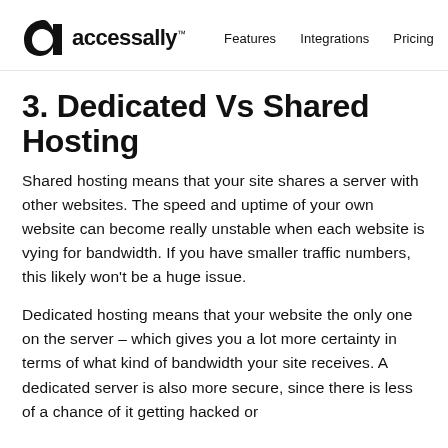accessally™  Features  Integrations  Pricing
3. Dedicated Vs Shared Hosting
Shared hosting means that your site shares a server with other websites. The speed and uptime of your own website can become really unstable when each website is vying for bandwidth. If you have smaller traffic numbers, this likely won't be a huge issue.
Dedicated hosting means that your website the only one on the server – which gives you a lot more certainty in terms of what kind of bandwidth your site receives. A dedicated server is also more secure, since there is less of a chance of it getting hacked or